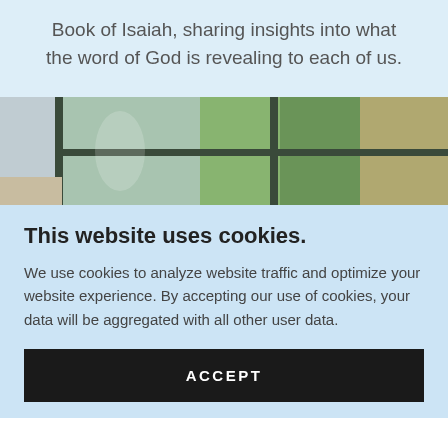Book of Isaiah, sharing insights into what the word of God is revealing to each of us.
[Figure (photo): Interior room photo showing a window with green/dark frame, view of trees outside, interior wall visible on the left]
This website uses cookies.
We use cookies to analyze website traffic and optimize your website experience. By accepting our use of cookies, your data will be aggregated with all other user data.
ACCEPT